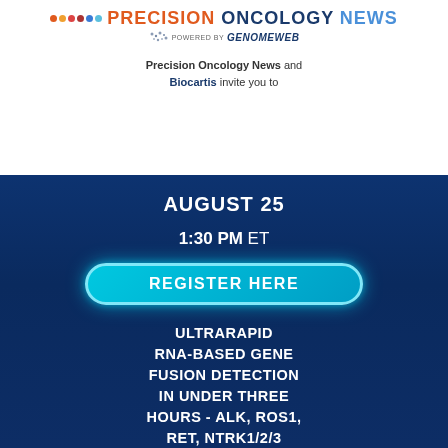[Figure (logo): Precision Oncology News logo powered by Genomeweb]
Precision Oncology News and Biocartis invite you to
AUGUST 25
1:30 PM ET
REGISTER HERE
ULTRARAPID RNA-BASED GENE FUSION DETECTION IN UNDER THREE HOURS - ALK, ROS1, RET, NTRK1/2/3 REARRANGEMENTS, AND MET EXON 14 SKIPPING
SPEAKERS
Maria E. Arcila, MD